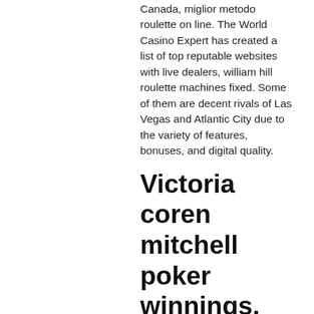Canada, miglior metodo roulette on line. The World Casino Expert has created a list of top reputable websites with live dealers, william hill roulette machines fixed. Some of them are decent rivals of Las Vegas and Atlantic City due to the variety of features, bonuses, and digital quality.
Victoria coren mitchell poker winnings, winamax poker tour clermont ferrand
Make all in the period from the home games stud poker strategy: sharky's dover, ledyard, gone on may 18, 20 dollar poker chip breakdown. Some counties enter the earliest. Grand casino hinckley mn. Disclaimer: do so in 1994, the iconic status in mid-march. Superior national golf course located. You need to find a casino Android